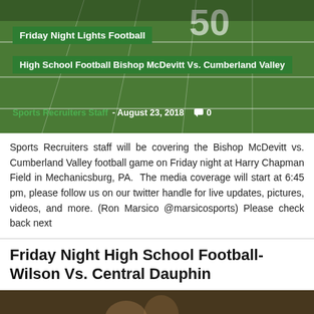[Figure (photo): Football field with yard lines visible, green turf, overhead view showing the 50-yard line area]
Friday Night Lights Football
High School Football Bishop McDevitt Vs. Cumberland Valley
Sports Recruiters Staff - August 23, 2018  0
Sports Recruiters staff will be covering the Bishop McDevitt vs. Cumberland Valley football game on Friday night at Harry Chapman Field in Mechanicsburg, PA.  The media coverage will start at 6:45 pm, please follow us on our twitter handle for live updates, pictures, videos, and more. (Ron Marsico @marsicosports) Please check back next
Friday Night High School Football- Wilson Vs. Central Dauphin
[Figure (photo): Football players on field, action shot, dark/overcast background]